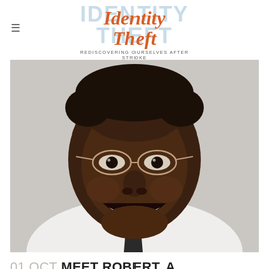Identity Theft
REDISCOVERING OURSELVES AFTER STROKE
[Figure (photo): Portrait photo of Robert, a man smiling broadly, wearing glasses and a suit with a dark tie, against a light gray background.]
01 OCT MEET ROBERT, A